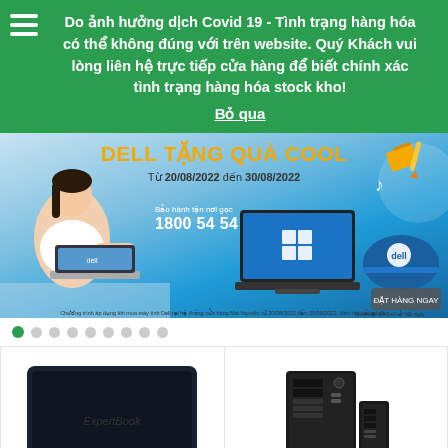Do ảnh hưởng dịch Covid 19 - Tình trạng hàng hóa có thể không đúng với trên website. Quý Khách vui lòng liên hệ trực tiếp cửa hàng để biết chính xác tình trạng hàng hóa stock kho!
Bỏ qua
[Figure (screenshot): Dell promotional banner with blue gradient background. Title 'DELL TẶNG QUÀ COOL' in gold/orange. Date range 'Từ 20/08/2022 đến 30/08/2022'. Hotline 'Bảo hành tận nơi gọc 1800 54 54 55'. Shows woman with laptop, Dell laptop image, and promotional gifts (helmet, gifts) on right.]
[Figure (other): Carousel navigation dots, first dot is green (active), remaining dots are gray]
[Figure (photo): ASUS ExpertBook dark navy laptop product photo on white background]
[Figure (photo): Dell Precision tower workstation desktop PC product photo on white background]